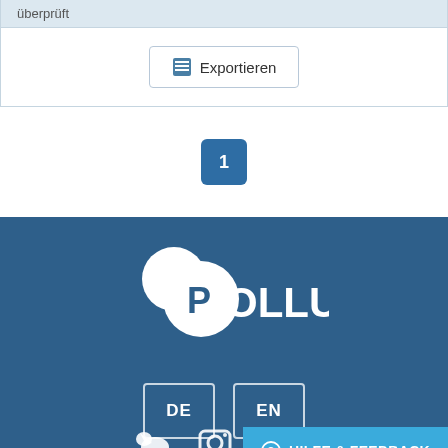überprüft
[Figure (screenshot): Export button with table icon and label 'Exportieren']
1
[Figure (logo): POLLUX logo — two overlapping white circles with a P in the left circle and OLLUX text, on dark blue background]
[Figure (screenshot): Language selection buttons: DE and EN, on dark blue background]
[Figure (screenshot): HILFE & FEEDBACK button in light blue at bottom right]
[Figure (screenshot): Social media icons (Twitter, Instagram/other) at bottom of footer]